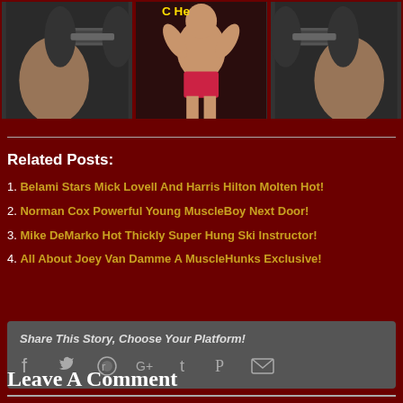[Figure (photo): Three-panel image strip showing muscular figures and dumbbells, with a central posed muscular person and dumbbell close-ups on left and right]
Related Posts:
1. Belami Stars Mick Lovell And Harris Hilton Molten Hot!
2. Norman Cox Powerful Young MuscleBoy Next Door!
3. Mike DeMarko Hot Thickly Super Hung Ski Instructor!
4. All About Joey Van Damme A MuscleHunks Exclusive!
Share This Story, Choose Your Platform!
Leave A Comment